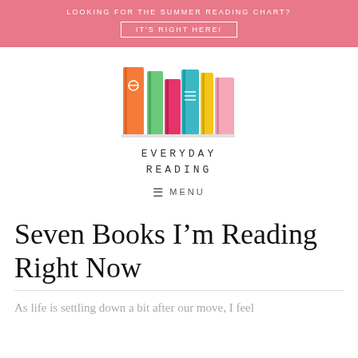LOOKING FOR THE SUMMER READING CHART? IT'S RIGHT HERE!
[Figure (logo): Colorful illustrated books logo for Everyday Reading blog]
EVERYDAY READING
≡ MENU
Seven Books I'm Reading Right Now
As life is settling down a bit after our move, I feel